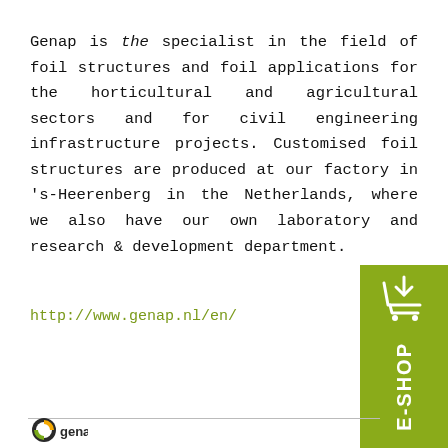Genap is the specialist in the field of foil structures and foil applications for the horticultural and agricultural sectors and for civil engineering infrastructure projects. Customised foil structures are produced at our factory in 's-Heerenberg in the Netherlands, where we also have our own laboratory and research & development department.
http://www.genap.nl/en/
[Figure (logo): Green E-SHOP button with shopping cart icon]
[Figure (logo): Genap company logo at bottom of page]